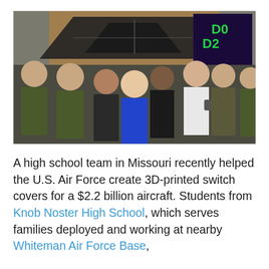[Figure (photo): Group photo of students and U.S. Air Force personnel in military flight suits posing together indoors. They are holding a 3D-printed model of a B-2 stealth bomber aircraft. A large model/replica of the B-2 bomber hangs on the wall behind them, and a colorful poster is visible in the background.]
A high school team in Missouri recently helped the U.S. Air Force create 3D-printed switch covers for a $2.2 billion aircraft. Students from Knob Noster High School, which serves families deployed and working at nearby Whiteman Air Force Base,